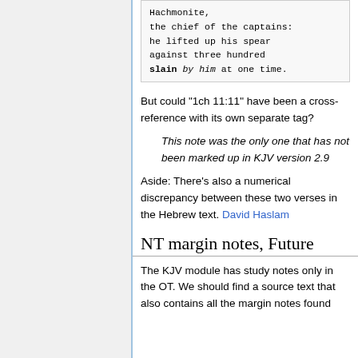Hachmonite,
the chief of the captains:
he lifted up his spear
against three hundred
slain by him at one time.
But could "1ch 11:11" have been a cross-reference with its own separate tag?
This note was the only one that has not been marked up in KJV version 2.9
Aside: There's also a numerical discrepancy between these two verses in the Hebrew text. David Haslam
NT margin notes, Future
The KJV module has study notes only in the OT. We should find a source text that also contains all the margin notes found